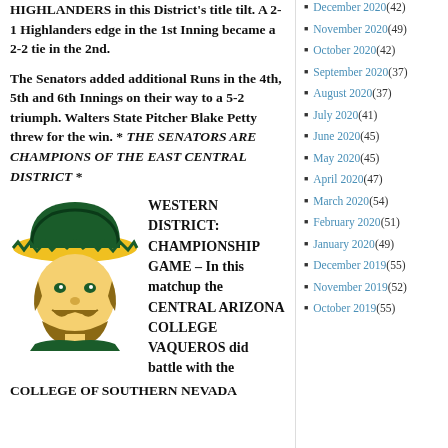HIGHLANDERS in this District's title tilt. A 2-1 Highlanders edge in the 1st Inning became a 2-2 tie in the 2nd.
The Senators added additional Runs in the 4th, 5th and 6th Innings on their way to a 5-2 triumph. Walters State Pitcher Blake Petty threw for the win. * THE SENATORS ARE CHAMPIONS OF THE EAST CENTRAL DISTRICT *
[Figure (illustration): Mascot logo of a Vaquero/cowboy character in green and yellow/gold colors]
WESTERN DISTRICT: CHAMPIONSHIP GAME – In this matchup the CENTRAL ARIZONA COLLEGE VAQUEROS did battle with the COLLEGE OF SOUTHERN NEVADA
December 2020 (42)
November 2020 (49)
October 2020 (42)
September 2020 (37)
August 2020 (37)
July 2020 (41)
June 2020 (45)
May 2020 (45)
April 2020 (47)
March 2020 (54)
February 2020 (51)
January 2020 (49)
December 2019 (55)
November 2019 (52)
October 2019 (55)